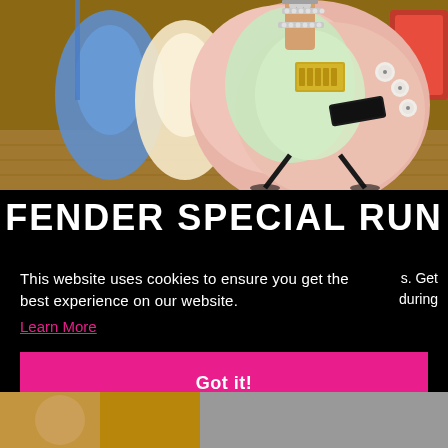[Figure (photo): Photo of a pink Fender Stratocaster electric guitar on a stand in a music shop, with other colorful guitars (blue, cream, orange) visible in the background on a wooden floor.]
FENDER SPECIAL RUN
This website uses cookies to ensure you get the best experience on our website.
s. Get during
Learn More
Got it!
[Figure (photo): Partial view of guitar or musical instrument at bottom left, and a grey/silver surface at bottom right.]